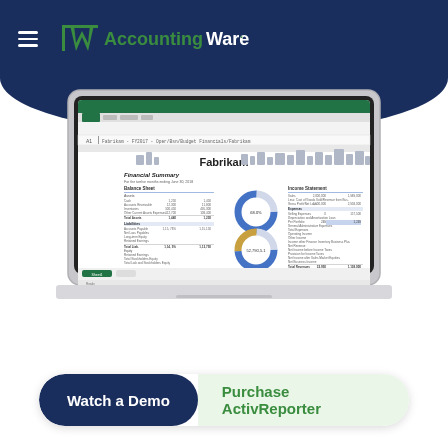AccountingWare
[Figure (screenshot): Laptop displaying a Fabrikam Financial Summary spreadsheet in Microsoft Excel with balance sheet, income statement, and donut charts]
Watch a Demo
Purchase ActivReporter